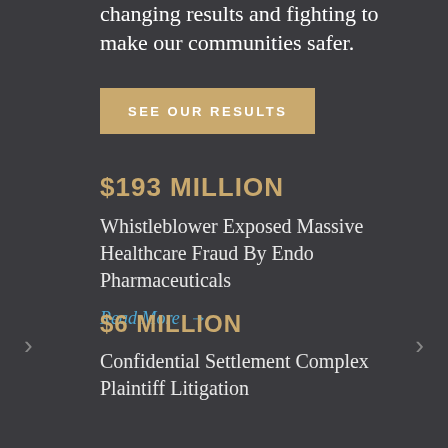changing results and fighting to make our communities safer.
SEE OUR RESULTS
$193 MILLION
Whistleblower Exposed Massive Healthcare Fraud By Endo Pharmaceuticals
Read More →
$6 MILLION
Confidential Settlement Complex Plaintiff Litigation